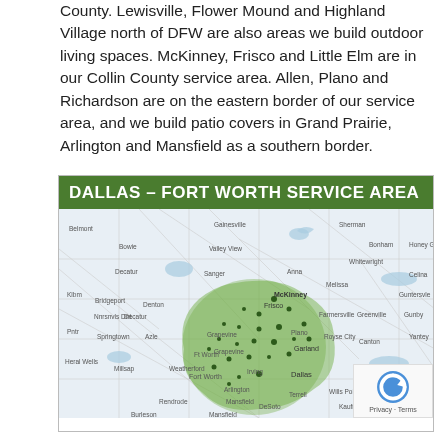County. Lewisville, Flower Mound and Highland Village north of DFW are also areas we build outdoor living spaces. McKinney, Frisco and Little Elm are in our Collin County service area. Allen, Plano and Richardson are on the eastern border of our service area, and we build patio covers in Grand Prairie, Arlington and Mansfield as a southern border.
[Figure (map): Dallas – Fort Worth Service Area map showing a green-shaded service region centered on Dallas, Fort Worth, Irving, Arlington, Frisco, McKinney, and surrounding DFW metroplex cities. The map includes roads, water bodies, and city labels across North Texas.]